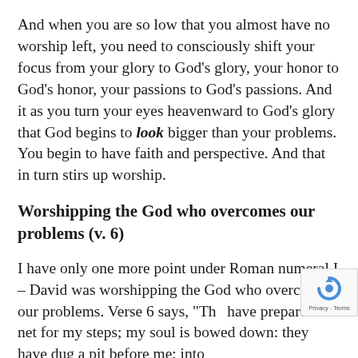And when you are so low that you almost have no worship left, you need to consciously shift your focus from your glory to God's glory, your honor to God's honor, your passions to God's passions. And it as you turn your eyes heavenward to God's glory that God begins to look bigger than your problems. You begin to have faith and perspective. And that in turn stirs up worship.
Worshipping the God who overcomes our problems (v. 6)
I have only one more point under Roman numeral I – David was worshipping the God who overcomes our problems. Verse 6 says, "The have prepared a net for my steps; my soul is bowed down: they have dug a pit before me; into